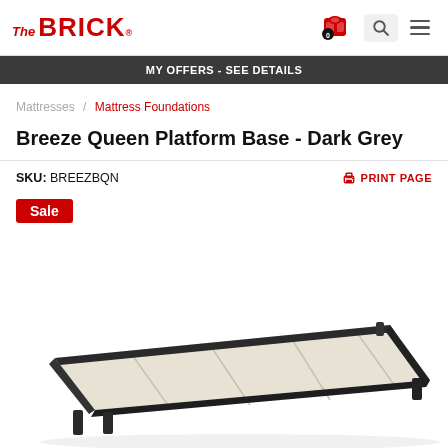The BRICK. — Navigation header with cart icon, search, and menu
MY OFFERS - SEE DETAILS
Mattresses / Mattress Foundations
Breeze Queen Platform Base - Dark Grey
SKU: BREEZBQN
PRINT PAGE
Sale
[Figure (photo): Breeze Queen Platform Base in Dark Grey - a low-profile platform bed base with dark charcoal/black metal frame and cream colored slats, viewed from a slight angle above]